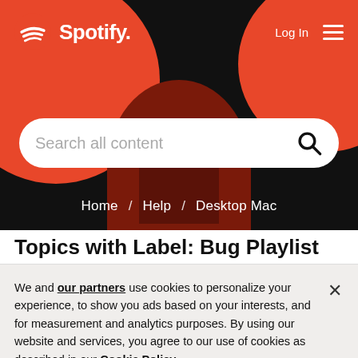[Figure (screenshot): Spotify website header with black background, red decorative circles, Spotify logo top-left, Log In and hamburger menu top-right, search bar with 'Search all content' placeholder, and breadcrumb navigation showing Home / Help / Desktop Mac]
Topics with Label: Bug Playlist
We and our partners use cookies to personalize your experience, to show you ads based on your interests, and for measurement and analytics purposes. By using our website and services, you agree to our use of cookies as described in our Cookie Policy.